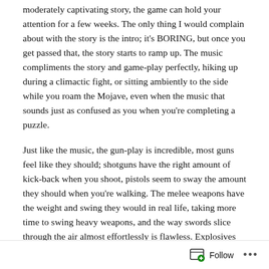moderately captivating story, the game can hold your attention for a few weeks. The only thing I would complain about with the story is the intro; it's BORING, but once you get passed that, the story starts to ramp up. The music compliments the story and game-play perfectly, hiking up during a climactic fight, or sitting ambiently to the side while you roam the Mojave, even when the music that sounds just as confused as you when you're completing a puzzle.
Just like the music, the gun-play is incredible, most guns feel like they should; shotguns have the right amount of kick-back when you shoot, pistols seem to sway the amount they should when you're walking. The melee weapons have the weight and swing they would in real life, taking more time to swing heavy weapons, and the way swords slice through the air almost effortlessly is flawless. Explosives have a punch, and power to them when used properly; landmines can be used beautifully to stop a group of enemies, grenades/grenade launchers can cripple a large enemy, and how they feel is just so awesome.
The story of New Vegas is the amazingly different from the other two; Fallout 3 and Fallout 4 (I know there's a Fallout 1, 2, and Fallout Tactics, but those are about as nice to play as a game of Dominoes with no fingers). The progression of the story is highly involved and
Follow ···